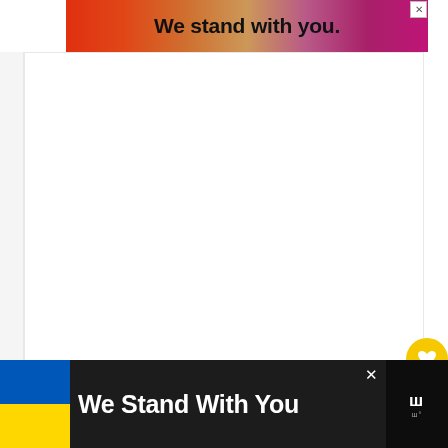[Figure (infographic): Top banner advertisement with gradient background from orange to magenta reading 'We stand with you.' with a close X button]
[Figure (screenshot): Large white content area (main webpage body, mostly blank)]
[Figure (infographic): Yellow circular heart (favorite) button on right side]
[Figure (infographic): White circular share/add button on right side]
[Figure (infographic): What's Next panel showing album thumbnail and text '10 Best Songs by Pink']
[Figure (infographic): Bottom dark bar advertisement with Ukrainian flag, text 'We Stand With You', close button, and Wonderwall logo]